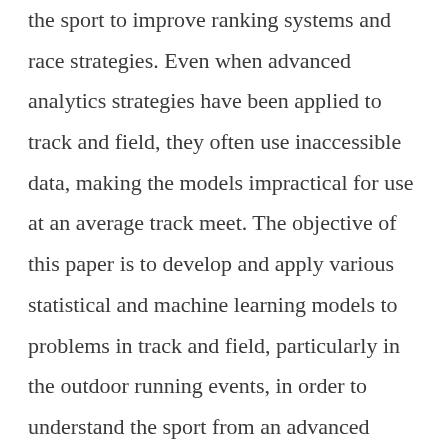the sport to improve ranking systems and race strategies. Even when advanced analytics strategies have been applied to track and field, they often use inaccessible data, making the models impractical for use at an average track meet. The objective of this paper is to develop and apply various statistical and machine learning models to problems in track and field, particularly in the outdoor running events, in order to understand the sport from an advanced analytics perspective. To ensure practicality of these applications to track and field meets, only readily